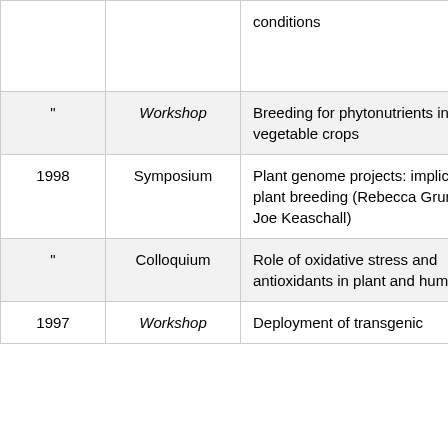| Year | Type | Title |
| --- | --- | --- |
|  |  | conditions |
| " | Workshop | Breeding for phytonutrients in vegetable crops |
| 1998 | Symposium | Plant genome projects: implications for plant breeding (Rebecca Grumet and Joe Keaschall) |
| " | Colloquium | Role of oxidative stress and antioxidants in plant and human health |
| 1997 | Workshop | Deployment of transgenic... |